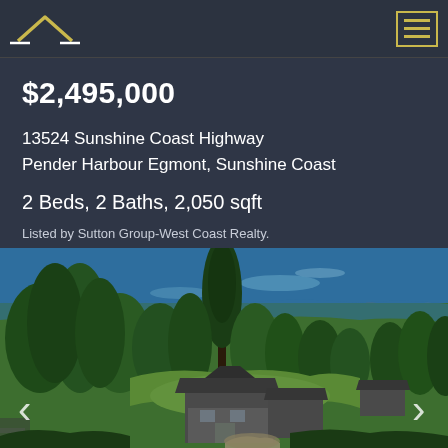Real estate listing header with logo and menu icon
$2,495,000
13524 Sunshine Coast Highway
Pender Harbour Egmont, Sunshine Coast
2 Beds, 2 Baths, 2,050 sqft
Listed by Sutton Group-West Coast Realty.
[Figure (photo): Aerial photograph of a waterfront property on the Sunshine Coast. Shows a house with dark roof surrounded by dense evergreen trees, with deep blue ocean/inlet water visible at the top of the image and rocky shoreline to the right. The property features a circular driveway and adjacent outbuildings.]